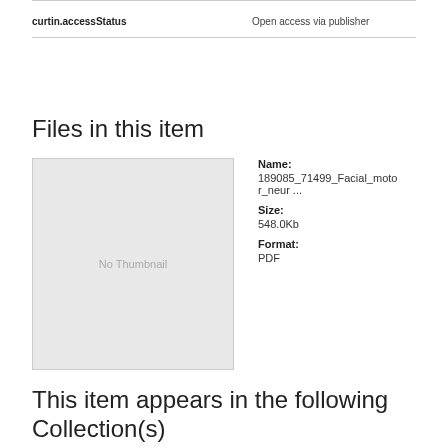| Field | Value |
| --- | --- |
| curtin.accessStatus | Open access via publisher |
Files in this item
[Figure (other): No Thumbnail placeholder image box]
Name:
189085_71499_Facial_motor_neur ...
Size:
548.0Kb
Format:
PDF
This item appears in the following Collection(s)